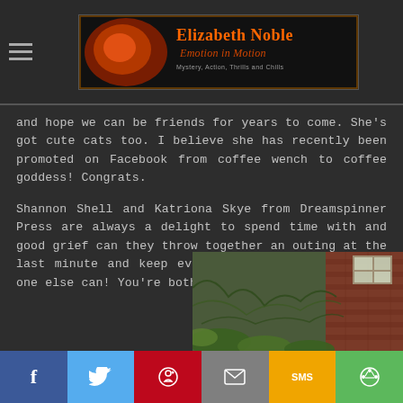Elizabeth Noble — Emotion in Motion — Mystery, Action, Thrills and Chills
and hope we can be friends for years to come. She's got cute cats too. I believe she has recently been promoted on Facebook from coffee wench to coffee goddess! Congrats.
Shannon Shell and Katriona Skye from Dreamspinner Press are always a delight to spend time with and good grief can they throw together an outing at the last minute and keep everything organized like no one else can! You're both the best.
[Figure (photo): Outdoor photo showing a brick wall with overgrown vines/ivy and some greenery]
Social share bar: Facebook, Twitter, Pinterest, Email, SMS, Share